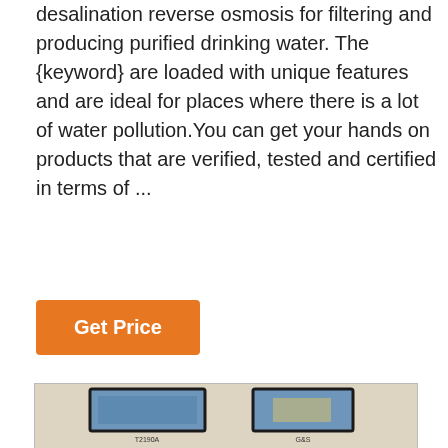desalination reverse osmosis for filtering and producing purified drinking water. The {keyword} are loaded with unique features and are ideal for places where there is a lot of water pollution.You can get your hands on products that are verified, tested and certified in terms of ...
Get Price
[Figure (photo): A photograph showing two packaged electronic components/modules side by side on a beige background. The left item appears to be a larger circuit board in blue packaging, and the right item is a smaller component also in blue packaging with a gray display area. Both items have label text below them.]